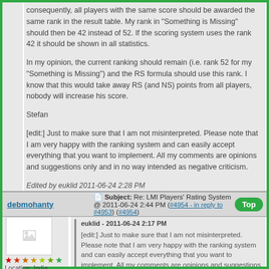consequently, all players with the same score should be awarded the same rank in the result table. My rank in "Something is Missing" should then be 42 instead of 52. If the scoring system uses the rank 42 it should be shown in all statistics.
In my opinion, the current ranking should remain (i.e. rank 52 for my "Something is Missing") and the RS formula should use this rank. I know that this would take away RS (and NS) points from all players, nobody will increase his score.
Stefan
[edit:] Just to make sure that I am not misinterpreted. Please note that I am very happy with the ranking system and can easily accept everything that you want to implement. All my comments are opinions and suggestions only and in no way intended as negative criticism.
Edited by euklid 2011-06-24 2:28 PM
debmohanty
Subject: Re: LMI Players' Rating System @ 2011-06-24 2:44 PM (#4954 - in reply to #4953) (#4954)
euklid - 2011-06-24 2:17 PM
[edit:] Just to make sure that I am not misinterpreted. Please note that I am very happy with the ranking system and can easily accept everything that you want to implement. All my comments are opinions and suggestions only and in no way intended as negative criticism.
Location: India